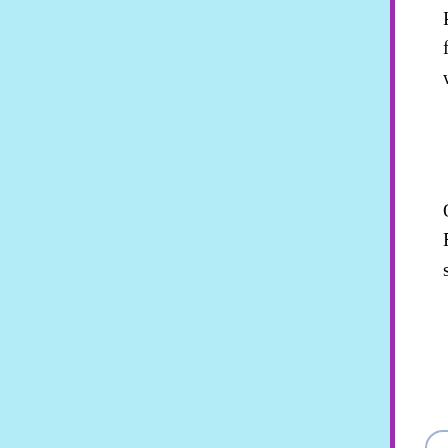Parliament "Kopvoddentax" (Head-rag-tax), Muslims would be forced to pay 1000 Euro for a permit to wear a headscarf. He did not ask for a tax to be enforced from Jews wearing a kippah, since he is a National Zionist and a firm defender of Israel.
On Danish television this Wilders stated that he want to deport 50 million Muslims from Europe. There are 50 million Muslims in Europe. This raving lunatic can go on and on spewing his hatred and that it is within the law. And they don't have laws in Holland to protect minorities.
One can not put 50 million people on a boat or a plane and dump them in another continent. Since deporting 50 million Muslims is impossible, we should assume he has other plans for them. Implicitly Wilders stated: "Hitler was a well-meaning amateur, a bit of a dilettante. I will show you I am better than Hitler. I will show you a higher achievement (holocaust)."
Geert Wilders is funded by National